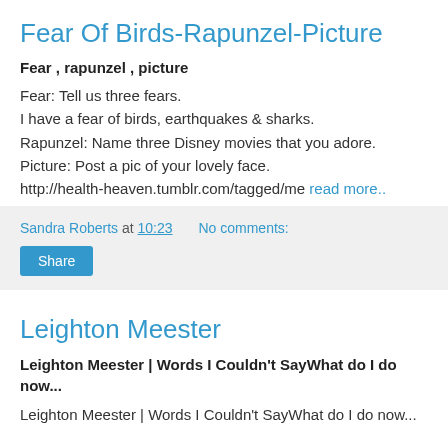Fear Of Birds-Rapunzel-Picture
Fear , rapunzel , picture
Fear: Tell us three fears.
I have a fear of birds, earthquakes & sharks.
Rapunzel: Name three Disney movies that you adore.
Picture: Post a pic of your lovely face.
http://health-heaven.tumblr.com/tagged/me read more..
Sandra Roberts at 10:23   No comments:
Share
Leighton Meester
Leighton Meester | Words I Couldn't SayWhat do I do now...
Leighton Meester | Words I Couldn't SayWhat do I do now...